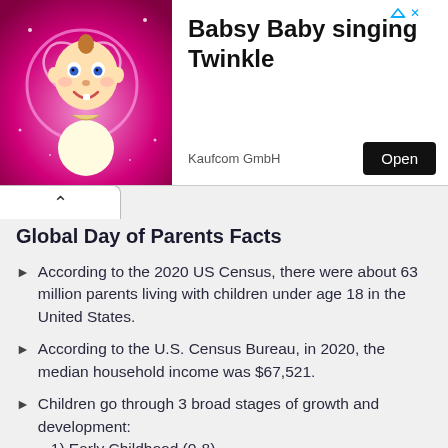[Figure (illustration): Ad banner with animated baby character (Babsy Baby) on a pink glowing background, with text 'Babsy Baby singing Twinkle', company name 'Kaufcom GmbH', and an 'Open' button. A play/ad arrow icon is in the top-right corner.]
Global Day of Parents Facts
According to the 2020 US Census, there were about 63 million parents living with children under age 18 in the United States.
According to the U.S. Census Bureau, in 2020, the median household income was $67,521.
Children go through 3 broad stages of growth and development:
1) Early Childhood (0-8)
2) Middle Childhood (8 to 12)
3) Adolescence (12-18)